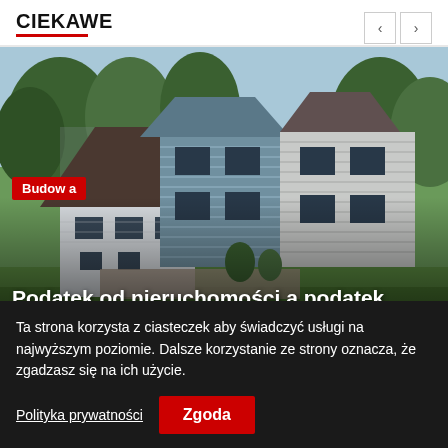CIEKAWE
[Figure (photo): Aerial/elevated view of modern white and blue houses with peaked roofs, green lawn in front, garden furniture on patio, trees in background]
Budowa
Podatek od nieruchomości a podatek gruntowy – na czym polega różnica?
Ta strona korzysta z ciasteczek aby świadczyć usługi na najwyższym poziomie. Dalsze korzystanie ze strony oznacza, że zgadzasz się na ich użycie.
Polityka prywatności
Zgoda